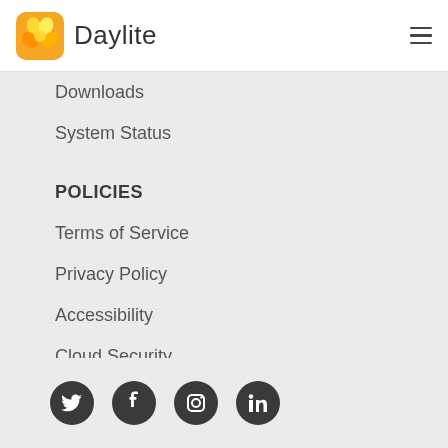Daylite
Downloads
System Status
POLICIES
Terms of Service
Privacy Policy
Accessibility
Cloud Security
Refund Policy
[Figure (illustration): Social media icons: Twitter, Facebook, Instagram, LinkedIn]